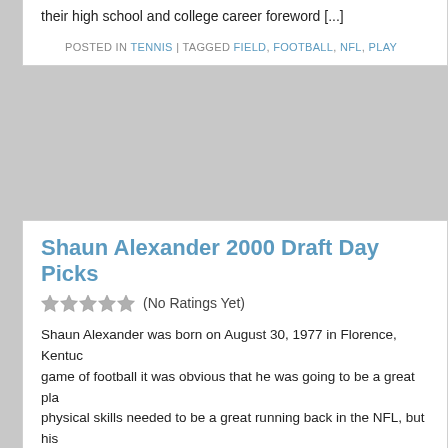their high school and college career foreword [...]
POSTED IN TENNIS | TAGGED FIELD, FOOTBALL, NFL, PLAY
Shaun Alexander 2000 Draft Day Picks
(No Ratings Yet)
Shaun Alexander was born on August 30, 1977 in Florence, Kentucky game of football it was obvious that he was going to be a great player physical skills needed to be a great running back in the NFL, but his
POSTED IN TENNIS | TAGGED ALEXANDER, BACKS, FOOT
Rose Bowl Tickets The Granddaddy Of Them All Is Unique In Several Ways
(No Ratings Yet)